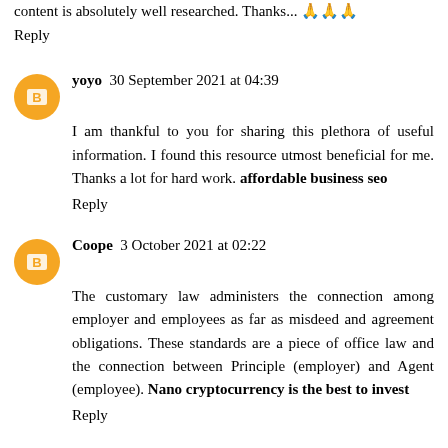content is absolutely well researched. Thanks... 🙏🙏🙏
Reply
yoyo  30 September 2021 at 04:39
I am thankful to you for sharing this plethora of useful information. I found this resource utmost beneficial for me. Thanks a lot for hard work. affordable business seo
Reply
Coope  3 October 2021 at 02:22
The customary law administers the connection among employer and employees as far as misdeed and agreement obligations. These standards are a piece of office law and the connection between Principle (employer) and Agent (employee). Nano cryptocurrency is the best to invest
Reply
Micheal22  5 October 2021 at 03:34